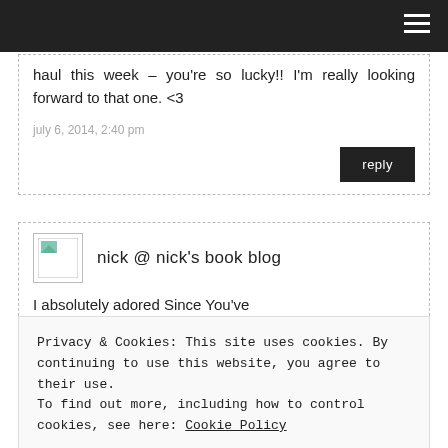haul this week – you're so lucky!! I'm really looking forward to that one. <3
july 6, 2014, 2:40 pm
reply
nick @ nick's book blog
I absolutely adored Since You've Been Gone and Take Me Gold...
july 6, 2014, 10:46 am
reply
Privacy & Cookies: This site uses cookies. By continuing to use this website, you agree to their use.
To find out more, including how to control cookies, see here: Cookie Policy
Close and accept